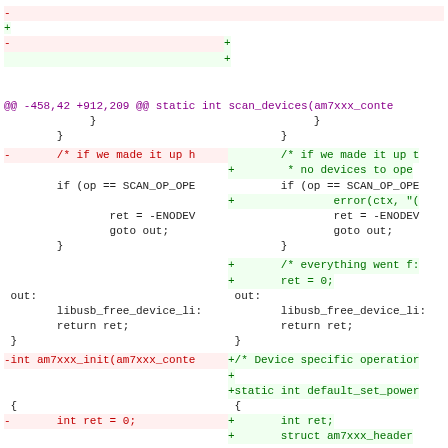diff hunk: @@ -458,42 +912,209 @@ static int scan_devices(am7xxx_conte...
code diff showing removed and added lines for scan_devices and am7xxx_init functions